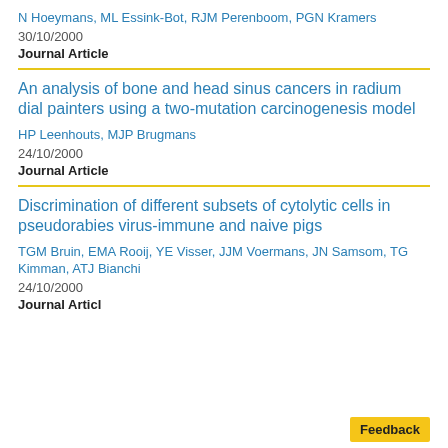N Hoeymans, ML Essink-Bot, RJM Perenboom, PGN Kramers
30/10/2000
Journal Article
An analysis of bone and head sinus cancers in radium dial painters using a two-mutation carcinogenesis model
HP Leenhouts, MJP Brugmans
24/10/2000
Journal Article
Discrimination of different subsets of cytolytic cells in pseudorabies virus-immune and naive pigs
TGM Bruin, EMA Rooij, YE Visser, JJM Voermans, JN Samsom, TG Kimman, ATJ Bianchi
24/10/2000
Journal Article